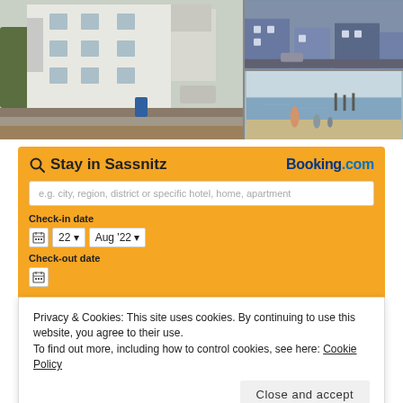[Figure (photo): Three photos of Sassnitz: main large photo of a white apartment building with balconies and a stone-paved area, top-right photo of blue residential buildings, bottom-right photo of a beach/shoreline with people and a pier]
[Figure (screenshot): Booking.com widget for 'Stay in Sassnitz' with search input field, check-in date set to 22 Aug '22, check-out date partially visible, on yellow/orange background]
Privacy & Cookies: This site uses cookies. By continuing to use this website, you agree to their use.
To find out more, including how to control cookies, see here: Cookie Policy
Close and accept